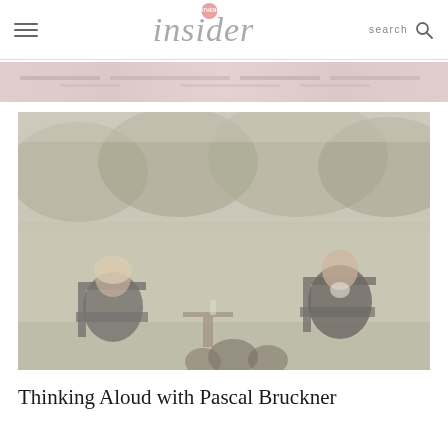Athens Insider — navigation header with logo and search
[Figure (other): Horizontal banner/advertisement strip with muted pink-beige pattern]
[Figure (photo): Two people seated in chairs on an outdoor lawn with trees in background, having a conversation or interview]
Thinking Aloud with Pascal Bruckner